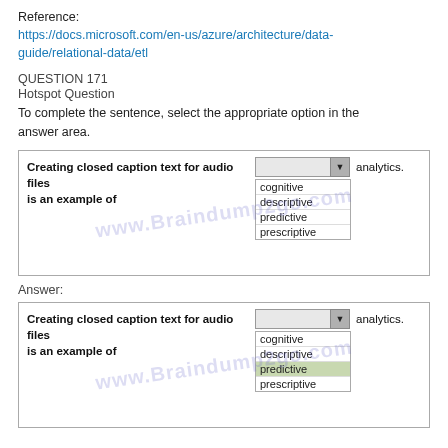Reference:
https://docs.microsoft.com/en-us/azure/architecture/data-guide/relational-data/etl
QUESTION 171
Hotspot Question
To complete the sentence, select the appropriate option in the answer area.
[Figure (screenshot): Hotspot question box: 'Creating closed caption text for audio files is an example of' with a dropdown showing options: cognitive, descriptive, predictive, prescriptive]
Answer:
[Figure (screenshot): Answer box: 'Creating closed caption text for audio files is an example of' with dropdown showing cognitive selected/highlighted, options: cognitive, descriptive, predictive, prescriptive]